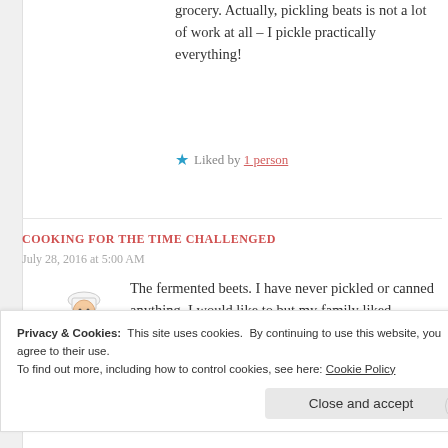grocery. Actually, pickling beats is not a lot of work at all – I pickle practically everything!
★ Liked by 1 person
COOKING FOR THE TIME CHALLENGED
July 28, 2016 at 5:00 AM
[Figure (illustration): Chef avatar illustration — cartoon chef holding a bowl]
The fermented beets. I have never pickled or canned anything. I would like to but my family liked everything fresh. I think that if you
Privacy & Cookies:  This site uses cookies.  By continuing to use this website, you agree to their use.
To find out more, including how to control cookies, see here: Cookie Policy
Close and accept